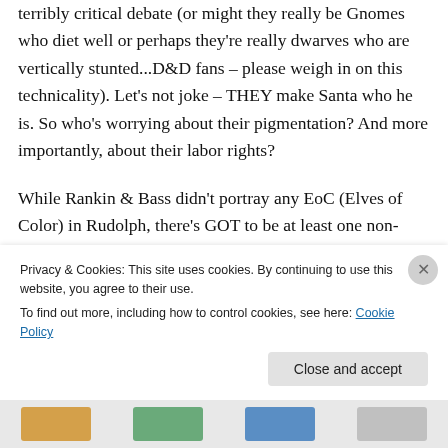terribly critical debate (or might they really be Gnomes who diet well or perhaps they're really dwarves who are vertically stunted...D&D fans – please weigh in on this technicality). Let's not joke – THEY make Santa who he is. So who's worrying about their pigmentation? And more importantly, about their labor rights?

While Rankin & Bass didn't portray any EoC (Elves of Color) in Rudolph, there's GOT to be at least one non-white toy-making organism up there, right? It there were, but I might which
Privacy & Cookies: This site uses cookies. By continuing to use this website, you agree to their use.
To find out more, including how to control cookies, see here: Cookie Policy